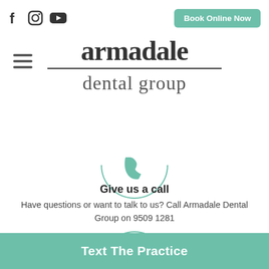[Figure (logo): Social media icons: Facebook (f), Instagram (circle), YouTube (play button triangle)]
Book Online Now
[Figure (logo): Armadale Dental Group logo with horizontal divider line]
[Figure (illustration): Circular icon with teal phone handset symbol]
Give us a call
Have questions or want to talk to us? Call Armadale Dental Group on 9509 1281
[Figure (illustration): Partial circular icon at bottom]
Text The Practice